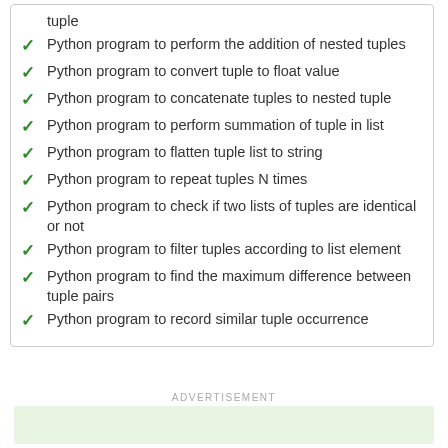tuple
Python program to perform the addition of nested tuples
Python program to convert tuple to float value
Python program to concatenate tuples to nested tuple
Python program to perform summation of tuple in list
Python program to flatten tuple list to string
Python program to repeat tuples N times
Python program to check if two lists of tuples are identical or not
Python program to filter tuples according to list element
Python program to find the maximum difference between tuple pairs
Python program to record similar tuple occurrence
ADVERTISEMENT